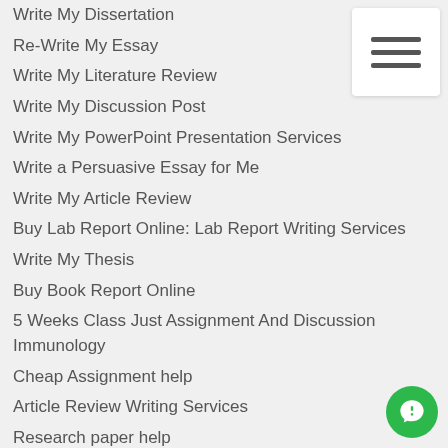Write My Dissertation
Re-Write My Essay
Write My Literature Review
Write My Discussion Post
Write My PowerPoint Presentation Services
Write a Persuasive Essay for Me
Write My Article Review
Buy Lab Report Online: Lab Report Writing Services
Write My Thesis
Buy Book Report Online
5 Weeks Class Just Assignment And Discussion Immunology
Cheap Assignment help
Article Review Writing Services
Research paper help
Capstone project Writing Service
Personal statement writing services
Literature review writing help
Speech writing services
PowerPoint presentation services